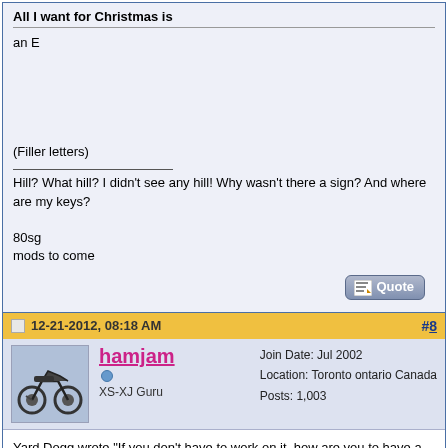All I want for Christmas is
an E

(Filler letters)
Hill? What hill? I didn't see any hill! Why wasn't there a sign? And where are my keys?

80sg
mods to come
[Figure (screenshot): Quote button with notepad icon]
12-21-2012, 08:18 AM    #8
[Figure (photo): Avatar photo of motorcycle]
hamjam
XS-XJ Guru
Join Date: Jul 2002
Location: Toronto ontario Canada
Posts: 1,003
Yard Dogg wrote "If you don't have to work on it, how are you to have a love hate relationship?"